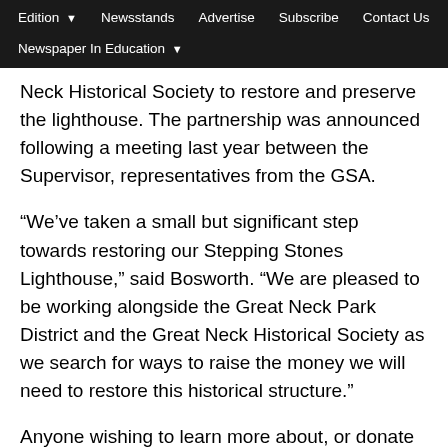Edition | Newsstands | Advertise | Subscribe | Contact Us | Newspaper In Education
Neck Historical Society to restore and preserve the lighthouse. The partnership was announced following a meeting last year between the Supervisor, representatives from the GSA.
“We’ve taken a small but significant step towards restoring our Stepping Stones Lighthouse,” said Bosworth. “We are pleased to be working alongside the Great Neck Park District and the Great Neck Historical Society as we search for ways to raise the money we will need to restore this historical structure.”
Anyone wishing to learn more about, or donate to, the Stepping Stones Lighthouse Restoration project, visit: www.greatneckhistorical.org/stepping-stones-lighthouse-